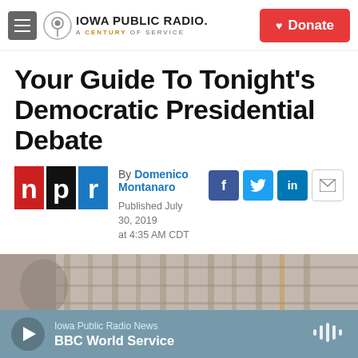Iowa Public Radio — A Century of Service | Donate
Your Guide To Tonight's Democratic Presidential Debate
By Domenico Montanaro
Published July 30, 2019 at 4:35 AM CDT
[Figure (photo): Partial exterior photo of a building with art deco architectural details]
Iowa Public Radio News — BBC World Service